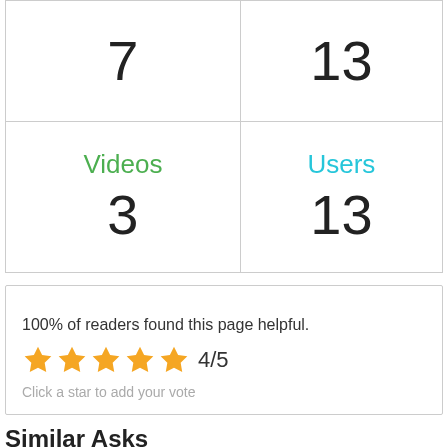| 7 | 13 |
| Videos
3 | Users
13 |
100% of readers found this page helpful.
[Figure (other): 5 orange stars rating display showing 4/5 with text 'Click a star to add your vote']
Similar Asks
4651 — Does Macy'S Sell Louis Vuitton Bags ?